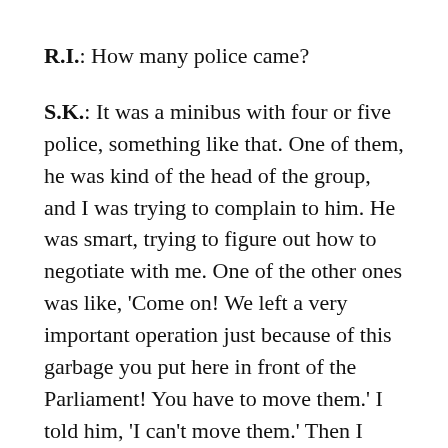R.I.: How many police came?
S.K.: It was a minibus with four or five police, something like that. One of them, he was kind of the head of the group, and I was trying to complain to him. He was smart, trying to figure out how to negotiate with me. One of the other ones was like, 'Come on! We left a very important operation just because of this garbage you put here in front of the Parliament! You have to move them.' I told him, 'I can't move them.' Then I called someone else who was in charge of organizing activities related to the International Romani Day, and they came, but the police still wanted